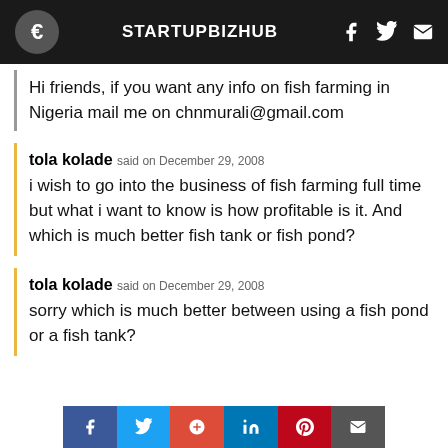STARTUPBIZHUB
Hi friends, if you want any info on fish farming in Nigeria mail me on chnmurali@gmail.com
tola kolade said on December 29, 2008
i wish to go into the business of fish farming full time but what i want to know is how profitable is it. And which is much better fish tank or fish pond?
tola kolade said on December 29, 2008
sorry which is much better between using a fish pond or a fish tank?